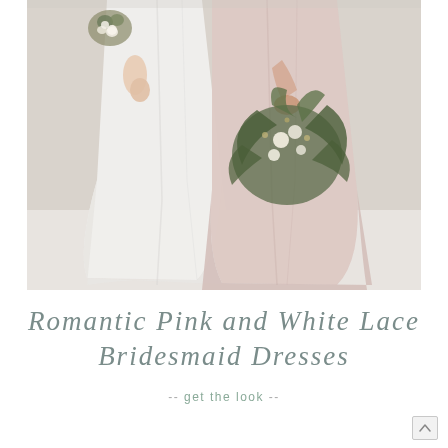[Figure (photo): Two bridesmaids from the waist down, one in a white flowing dress holding a small bouquet, one in a blush pink flowing dress holding a larger greenery bouquet, standing on a light grey/white floor against a light background.]
Romantic Pink and White Lace Bridesmaid Dresses
-- get the look --